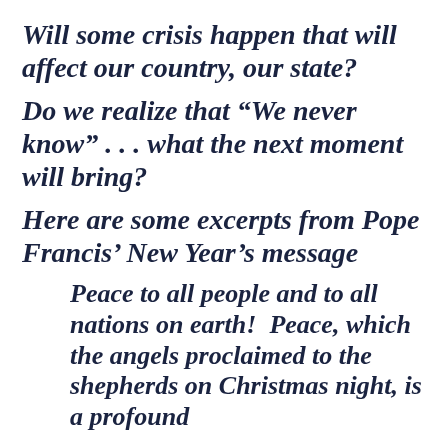Will some crisis happen that will affect our country, our state?
Do we realize that “We never know” . . . what the next moment will bring?
Here are some excerpts from Pope Francis’ New Year’s message
Peace to all people and to all nations on earth!  Peace, which the angels proclaimed to the shepherds on Christmas night, is a profound